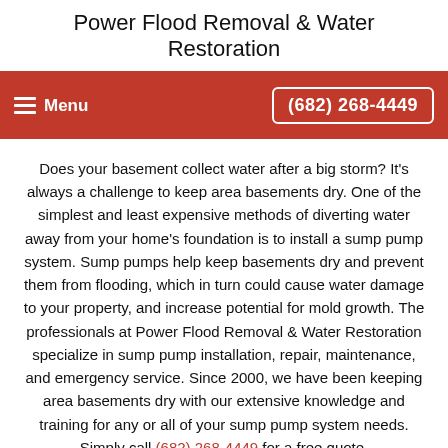Power Flood Removal & Water Restoration
Menu  (682) 268-4449
Does your basement collect water after a big storm? It's always a challenge to keep area basements dry. One of the simplest and least expensive methods of diverting water away from your home's foundation is to install a sump pump system. Sump pumps help keep basements dry and prevent them from flooding, which in turn could cause water damage to your property, and increase potential for mold growth. The professionals at Power Flood Removal & Water Restoration specialize in sump pump installation, repair, maintenance, and emergency service. Since 2000, we have been keeping area basements dry with our extensive knowledge and training for any or all of your sump pump system needs. Simply call (682) 268-4449 for a free quote.